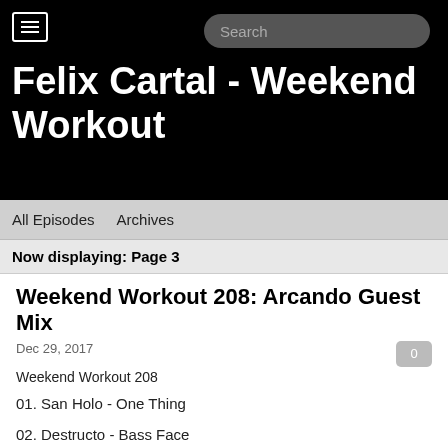Felix Cartal - Weekend Workout
All Episodes   Archives
Now displaying: Page 3
Weekend Workout 208: Arcando Guest Mix
Dec 29, 2017
Weekend Workout 208
01. San Holo - One Thing
02. Destructo - Bass Face
03. Pnau - Go Bang